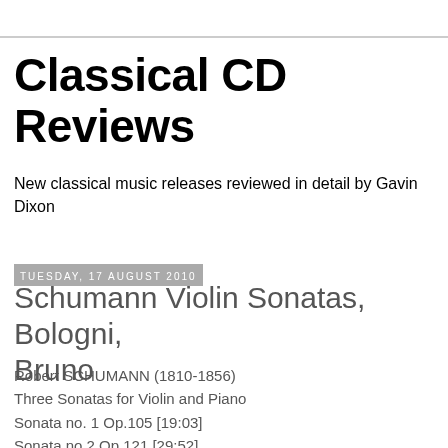Classical CD Reviews
New classical music releases reviewed in detail by Gavin Dixon
Tuesday, 17 August 2010
Schumann Violin Sonatas, Bologni, Bruno
Robert SCHUMANN (1810-1856)
Three Sonatas for Violin and Piano
Sonata no. 1 Op.105 [19:03]
Sonata no.2 Op.121 [29:52]
Sonata no.3 Op. Post. [21:24]